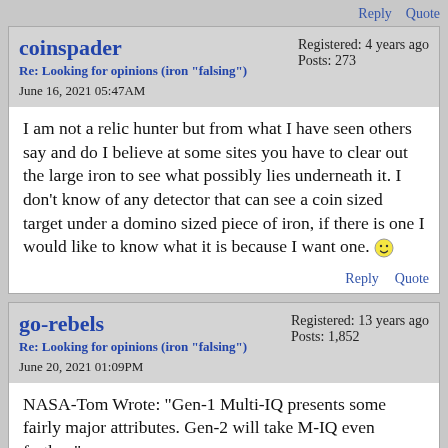Reply   Quote
coinspader
Re: Looking for opinions (iron "falsing")
June 16, 2021 05:47AM
Registered: 4 years ago
Posts: 273
I am not a relic hunter but from what I have seen others say and do I believe at some sites you have to clear out the large iron to see what possibly lies underneath it. I don't know of any detector that can see a coin sized target under a domino sized piece of iron, if there is one I would like to know what it is because I want one. 🙂
Reply   Quote
go-rebels
Re: Looking for opinions (iron "falsing")
June 20, 2021 01:09PM
Registered: 13 years ago
Posts: 1,852
NASA-Tom Wrote: "Gen-1 Multi-IQ presents some fairly major attributes. Gen-2 will take M-IQ even further."